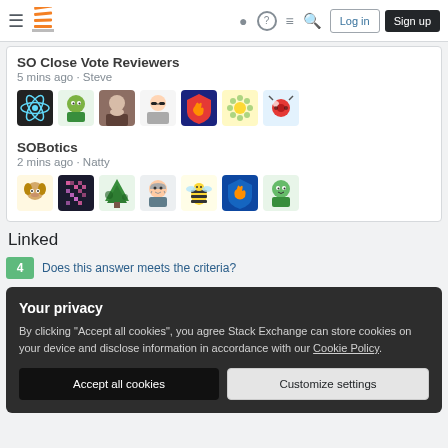Stack Overflow navigation bar with Log in and Sign up buttons
SO Close Vote Reviewers
5 mins ago - Steve
[Figure (illustration): Row of 7 user avatars for SO Close Vote Reviewers chat room]
SOBotics
2 mins ago - Natty
[Figure (illustration): Row of 7 user avatars for SOBotics chat room]
Linked
4  Does this answer meets the criteria?
Your privacy
By clicking "Accept all cookies", you agree Stack Exchange can store cookies on your device and disclose information in accordance with our Cookie Policy.
Accept all cookies
Customize settings